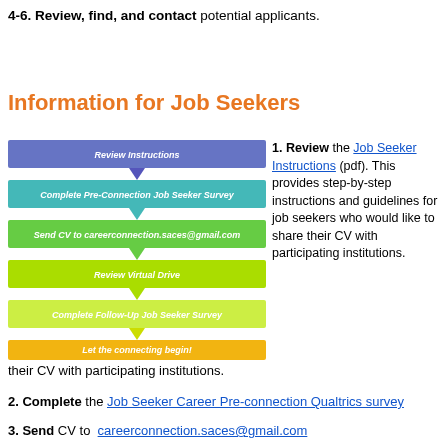4-6. Review, find, and contact potential applicants.
Information for Job Seekers
[Figure (flowchart): Vertical flowchart with 6 colored steps: 1) Review Instructions (blue-purple), 2) Complete Pre-Connection Job Seeker Survey (teal), 3) Send CV to careerconnection.saces@gmail.com (green), 4) Review Virtual Drive (yellow-green), 5) Complete Follow-Up Job Seeker Survey (light green-yellow), 6) Let the connecting begin! (gold/orange)]
1. Review the Job Seeker Instructions (pdf). This provides step-by-step instructions and guidelines for job seekers who would like to share their CV with participating institutions.
2. Complete the Job Seeker Career Pre-connection Qualtrics survey
3. Send CV to  careerconnection.saces@gmail.com